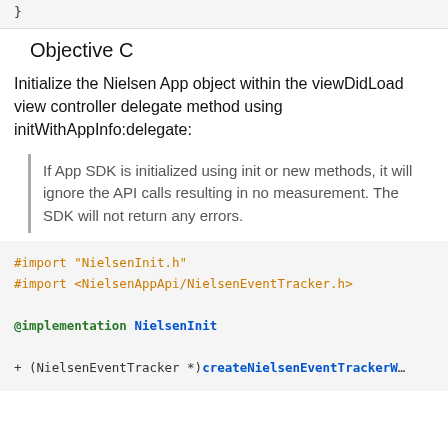}
Objective C
Initialize the Nielsen App object within the viewDidLoad view controller delegate method using initWithAppInfo:delegate:
If App SDK is initialized using init or new methods, it will ignore the API calls resulting in no measurement. The SDK will not return any errors.
#import "NielsenInit.h"
#import <NielsenAppApi/NielsenEventTracker.h>

@implementation NielsenInit

+ (NielsenEventTracker *)createNielsenEventTrackerW...